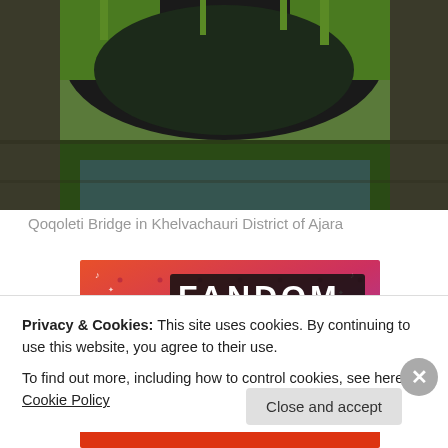[Figure (photo): A stone bridge or rocky archway with green moss and vegetation, photographed from below showing rocks and water.]
Qoqoleti Bridge in Khelvachauri District of Ajara
[Figure (screenshot): Colorful Tumblr promotional banner with orange-to-purple gradient background reading 'FANDOM ON tumblr' with doodles and a skull icon.]
Privacy & Cookies: This site uses cookies. By continuing to use this website, you agree to their use.
To find out more, including how to control cookies, see here: Cookie Policy
Close and accept